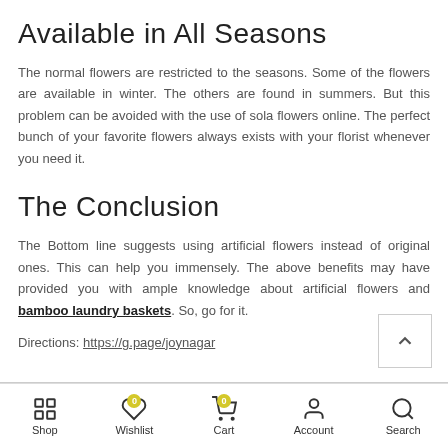Available in All Seasons
The normal flowers are restricted to the seasons. Some of the flowers are available in winter. The others are found in summers. But this problem can be avoided with the use of sola flowers online. The perfect bunch of your favorite flowers always exists with your florist whenever you need it.
The Conclusion
The Bottom line suggests using artificial flowers instead of original ones. This can help you immensely. The above benefits may have provided you with ample knowledge about artificial flowers and bamboo laundry baskets. So, go for it.
Directions: https://g.page/joynagar
Shop | Wishlist 0 | Cart 0 | Account | Search